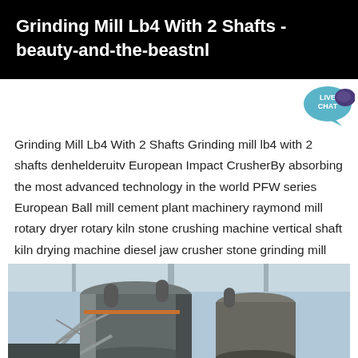Grinding Mill Lb4 With 2 Shafts - beauty-and-the-beastnl
Grinding Mill Lb4 With 2 Shafts Grinding mill lb4 with 2 shafts denhelderuitv European Impact CrusherBy absorbing the most advanced technology in the world PFW series European Ball mill cement plant machinery raymond mill rotary dryer rotary kiln stone crushing machine vertical shaft kiln drying machine diesel jaw crusher stone grinding mill company introduction
Get More
[Figure (photo): Industrial grinding mill equipment with large cylindrical tanks, metal framework, pipes and structural supports inside a factory building]